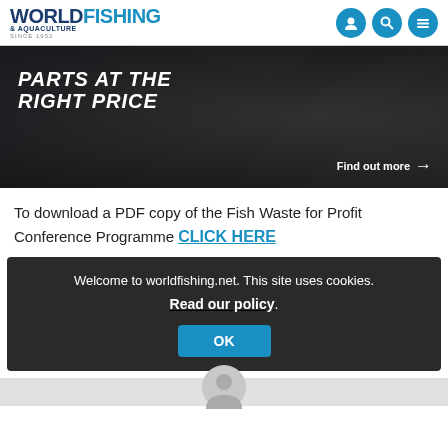WORLD FISHING & AQUACULTURE SINCE 1952
[Figure (photo): Dark advertisement banner showing industrial machinery parts with text 'PARTS AT THE RIGHT PRICE' and 'Find out more →' in white italic font on dark background]
To download a PDF copy of the Fish Waste for Profit Conference Programme CLICK HERE
Welcome to worldfishing.net. This site uses cookies. Read our policy. OK